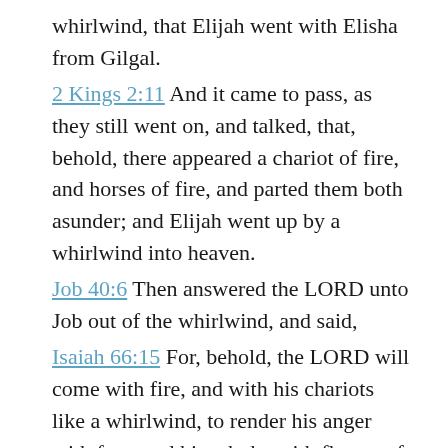whirlwind, that Elijah went with Elisha from Gilgal.
2 Kings 2:11 And it came to pass, as they still went on, and talked, that, behold, there appeared a chariot of fire, and horses of fire, and parted them both asunder; and Elijah went up by a whirlwind into heaven.
Job 40:6 Then answered the LORD unto Job out of the whirlwind, and said,
Isaiah 66:15 For, behold, the LORD will come with fire, and with his chariots like a whirlwind, to render his anger with fury, and his rebuke with flames of fire.
Jeremiah 4:3 Behold, he shall come up as clouds, and his chariots shall be as a whirlwind: his horses are swifter than eagles. Woe unto us!